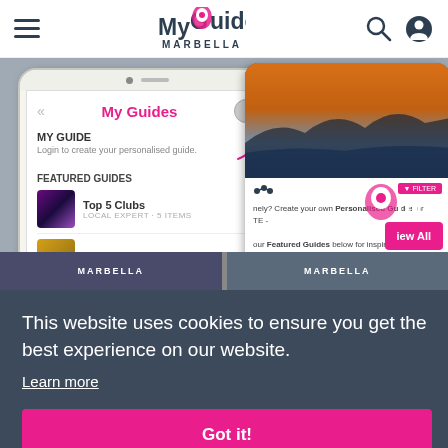My Guide Marbella - website header with hamburger menu, logo, search and user icons
[Figure (screenshot): Screenshot of MyGuide Marbella mobile app showing 'My Guides' panel with login prompt, Featured Guides section listing 'Top 5 Clubs' and 'Top 5 Cocktail Bars', alongside a scenic photo of Marbella coastline at sunset with filter and share controls]
This website uses cookies to ensure you get the best experience on our website.
Learn more
Got it!